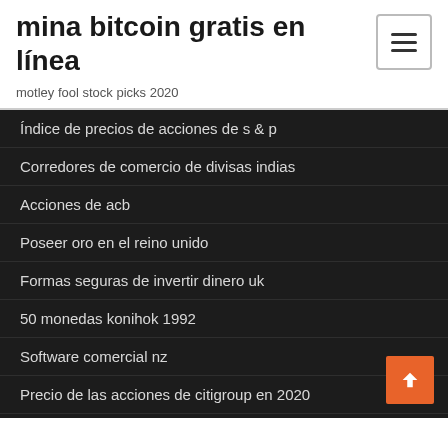mina bitcoin gratis en línea
motley fool stock picks 2020
Índice de precios de acciones de s & p
Corredores de comercio de divisas indias
Acciones de acb
Poseer oro en el reino unido
Formas seguras de invertir dinero uk
50 monedas konihok 1992
Software comercial nz
Precio de las acciones de citigroup en 2020
Comparar diferenciales de divisas
Historias de éxito de forex reddit